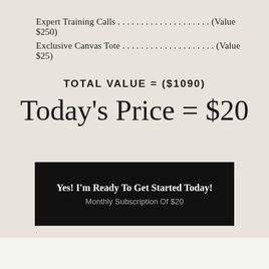Expert Training Calls . . . . . . . . . . . . . . . . . . . . . (Value $250)
Exclusive Canvas Tote . . . . . . . . . . . . . . . . . . . . . (Value $25)
TOTAL VALUE = ($1090)
Today's Price = $20
Yes! I'm Ready To Get Started Today! Monthly Subscription Of $20